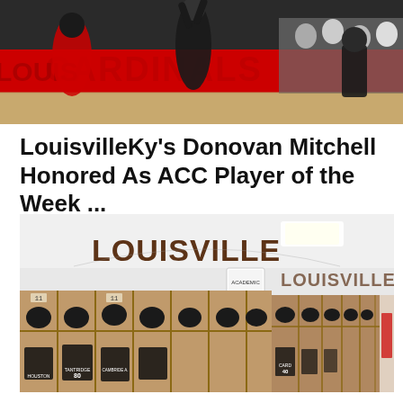[Figure (photo): Basketball game photo showing Louisville Cardinals players on court with red Cardinals signage in background and crowd watching]
LouisvilleKy's Donovan Mitchell Honored As ACC Player of the Week ...
JackieBentley – January 31, 2017
[Figure (photo): Louisville Cardinals football locker room with wooden lockers, helmets hanging, jerseys labeled with player names including HOUSTON, TANTRIDGE, number 80, and LOUISVILLE script on the wall]